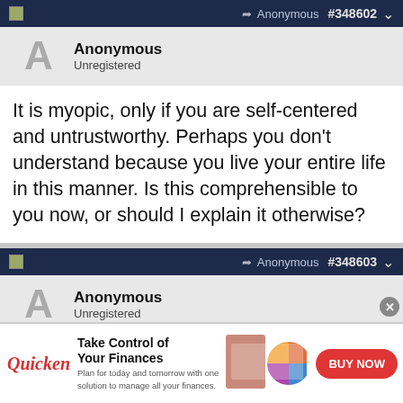Anonymous #348602
Anonymous
Unregistered
It is myopic, only if you are self-centered and untrustworthy. Perhaps you don't understand because you live your entire life in this manner. Is this comprehensible to you now, or should I explain it otherwise?
Anonymous #348603
Anonymous
Unregistered
Originally Posted by Anonymous
[Figure (screenshot): Advertisement banner for Quicken: 'Take Control of Your Finances' with BUY NOW button]